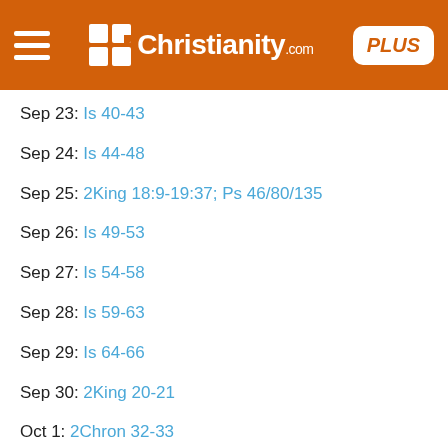Christianity.com PLUS
Sep 23: Is 40-43
Sep 24: Is 44-48
Sep 25: 2King 18:9-19:37; Ps 46/80/135
Sep 26: Is 49-53
Sep 27: Is 54-58
Sep 28: Is 59-63
Sep 29: Is 64-66
Sep 30: 2King 20-21
Oct 1: 2Chron 32-33
Oct 2: Nahum 1-3
Oct 3: 2King 22-23; 2Chron 34-35
Oct 4: Zephaniah
Oct 5: Jer 1-3